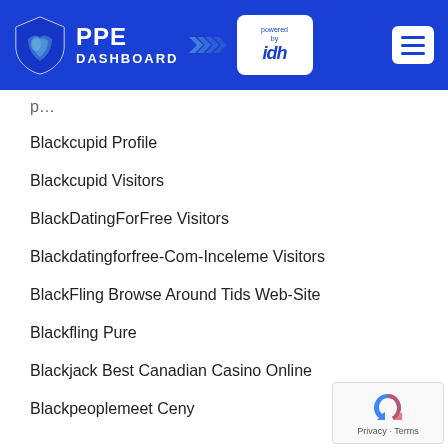[Figure (logo): PPE Dashboard logo with shield icon and 'powered by idh' badge on blue header background, with hamburger menu button on right]
Blackcupid Profile
Blackcupid Visitors
BlackDatingForFree Visitors
Blackdatingforfree-Com-Inceleme Visitors
BlackFling Browse Around Tids Web-Site
Blackfling Pure
Blackjack Best Canadian Casino Online
Blackpeoplemeet Ceny